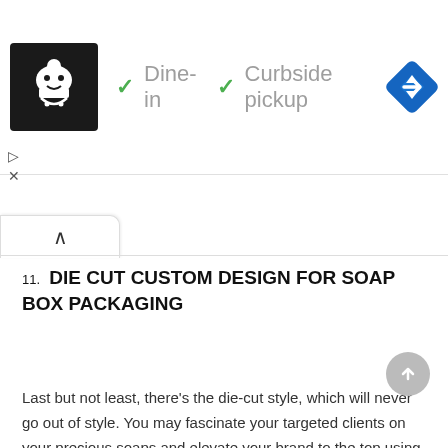[Figure (screenshot): Advertisement banner showing a restaurant logo (chef figure on black background), checkmarks for 'Dine-in' and 'Curbside pickup', and a blue navigation diamond icon on the right. Ad controls (play/close) below left.]
11. DIE CUT CUSTOM DESIGN FOR SOAP BOX PACKAGING
Last but not least, there’s the die-cut style, which will never go out of style. You may fascinate your targeted clients on your precious soaps and elevate your brand to the top using the die-cut approach in producing the amazing form on your soap boxes.
These eleven ideas will assist you in creating enticing and beautiful box